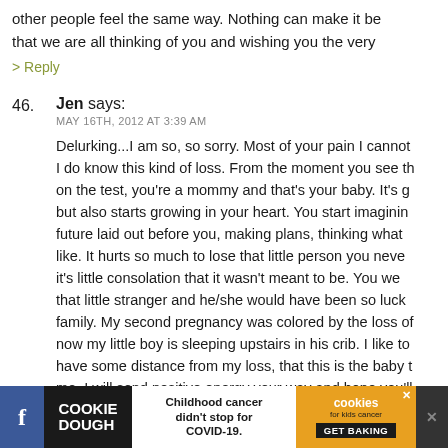other people feel the same way. Nothing can make it be better, know that we are all thinking of you and wishing you the very
> Reply
46. Jen says:
MAY 16TH, 2012 AT 3:39 AM

Delurking...I am so, so sorry. Most of your pain I cannot know but I do know this kind of loss. From the moment you see that line on the test, you're a mommy and that's your baby. It's growing but also starts growing in your heart. You start imagining the future laid out before you, making plans, thinking what they'll be like. It hurts so much to lose that little person you never met and it's little consolation that it wasn't meant to be. You were ready for that little stranger and he/she would have been so lucky to join your family. My second pregnancy was colored by the loss of the first and now my little boy is sleeping upstairs in his crib. I like to think, once I have some distance from my loss, that this is the baby that was meant for me. I will send positive energy your way and hope you'll
[Figure (screenshot): Advertisement banner: Cookie Dough - Childhood cancer didn't stop for COVID-19. cookies for kids cancer GET BAKING]